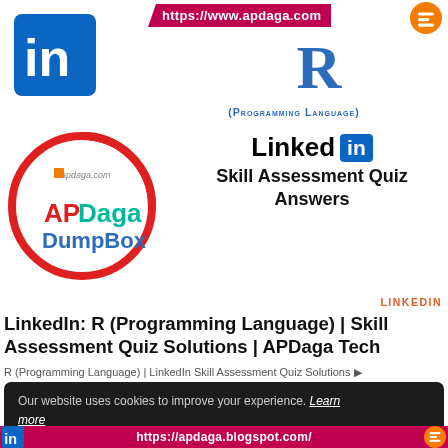[Figure (logo): LinkedIn blue square logo with 'in' text, top left]
[Figure (logo): URL banner https://www.apdaga.com in red chevron with Blogger icon]
R
(PROGRAMMING LANGUAGE)
[Figure (logo): APDaga DumpBox circular logo with red/teal colors and apdaga.com text]
[Figure (logo): LinkedIn Skill Assessment Quiz Answers logo with LinkedIn brand]
Skill Assessment Quiz Answers
LINKEDIN
LinkedIn: R (Programming Language) | Skill Assessment Quiz Solutions | APDaga Tech
R (Programming Language) | LinkedIn Skill Assessment Quiz Solutions ▶
Our website uses cookies to improve your experience. Learn more
! Accept
https://apdaga.blogspot.com/